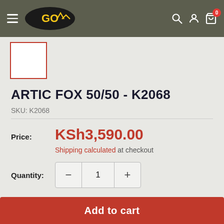GO (logo) navigation header with hamburger menu, search, account, and cart icons
[Figure (screenshot): Product thumbnail image box with red border outline on light background]
ARTIC FOX 50/50 - K2068
SKU: K2068
Price: KSh3,590.00
Shipping calculated at checkout
Quantity: 1
Add to cart